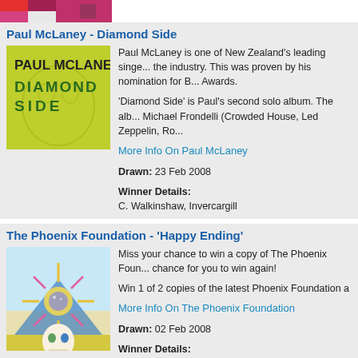[Figure (photo): Top strip showing partial album cover image — colorful red and pink geometric pattern]
Paul McLaney - Diamond Side
[Figure (photo): Paul McLaney 'Diamond Side' album cover — green background with bold text PAUL MCLANEY DIAMOND SIDE]
Paul McLaney is one of New Zealand's leading singe... the industry. This was proven by his nomination for B... Awards.
'Diamond Side' is Paul's second solo album. The alb... Michael Frondelli (Crowded House, Led Zeppelin, Ro...
More Info On Paul McLaney
Drawn: 23 Feb 2008
Winner Details:
C. Walkinshaw, Invercargill
The Phoenix Foundation - 'Happy Ending'
[Figure (photo): The Phoenix Foundation 'Happy Ending' album cover — colorful surreal illustration with skull and sunburst]
Miss your chance to win a copy of The Phoenix Foun... chance for you to win again!
Win 1 of 2 copies of the latest Phoenix Foundation a
More Info On The Phoenix Foundation
Drawn: 02 Feb 2008
Winner Details:
S. Robson, Ngaruawahia
S. Draffin, Dunedin